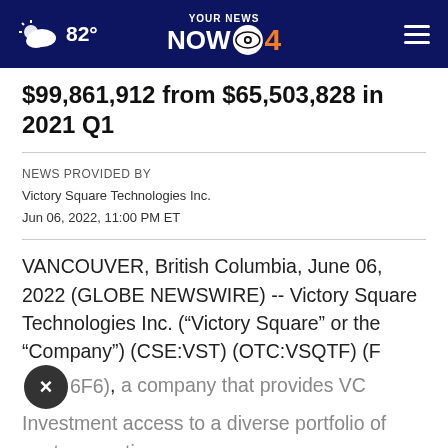82° YOUR NEWS NOW CBS 4
$99,861,912 from $65,503,828 in 2021 Q1
NEWS PROVIDED BY
Victory Square Technologies Inc.
Jun 06, 2022, 11:00 PM ET
VANCOUVER, British Columbia, June 06, 2022 (GLOBE NEWSWIRE) -- Victory Square Technologies Inc. (“Victory Square” or the “Company”) (CSE:VST) (OTC:VSQTF) (F6F6), a company that provides VC Investment access to a diverse portfolio of next generation